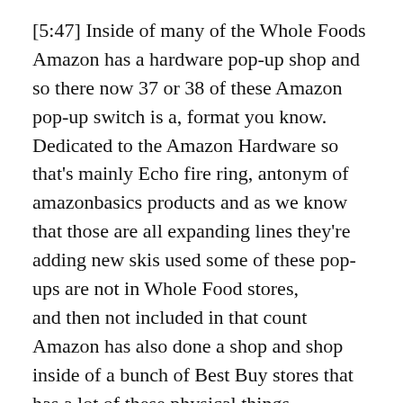[5:47] Inside of many of the Whole Foods Amazon has a hardware pop-up shop and so there now 37 or 38 of these Amazon pop-up switch is a, format you know. Dedicated to the Amazon Hardware so that's mainly Echo fire ring, antonym of amazonbasics products and as we know that those are all expanding lines they're adding new skis used some of these pop-ups are not in Whole Food stores, and then not included in that count Amazon has also done a shop and shop inside of a bunch of Best Buy stores that has a lot of these physical things, so those are is far as I can remember where the main, Amazon brick-and-mortar formats leading up to